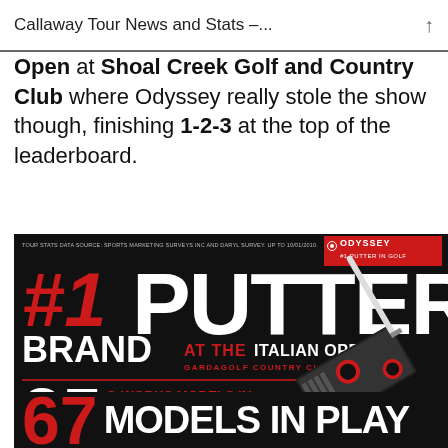Callaway Tour News and Stats –...
Open at Shoal Creek Golf and Country Club where Odyssey really stole the show though, finishing 1-2-3 at the top of the leaderboard.
[Figure (infographic): Odyssey #1 Putter Brand infographic advertisement on black background. Shows #1 PUTTER BRAND AT THE ITALIAN OPEN GARDAGOLF COUNTRY CLUB, 25 O-WORKS MODELS IN PLAY FEATURING OUR NEW MICROHINGE INSERT TECHNOLOGY, 67 MODELS IN PLAY. Odyssey logo in red badge top right. Red putter image on right side.]